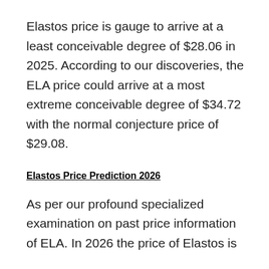Elastos price is gauge to arrive at a least conceivable degree of $28.06 in 2025. According to our discoveries, the ELA price could arrive at a most extreme conceivable degree of $34.72 with the normal conjecture price of $29.08.
Elastos Price Prediction 2026
As per our profound specialized examination on past price information of ELA. In 2026 the price of Elastos is